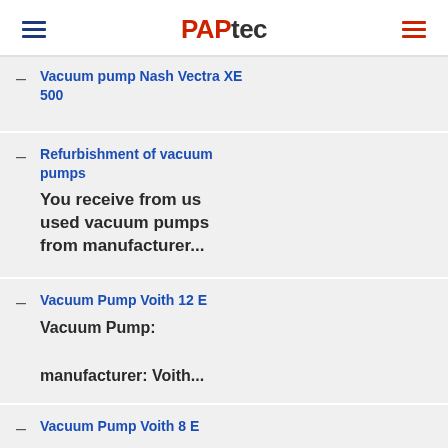PAPtec
Vacuum pump Nash Vectra XE 500
Refurbishment of vacuum pumps — You receive from us used vacuum pumps from manufacturer...
Vacuum Pump Voith 12 E — Vacuum Pump: manufacturer: Voith...
Vacuum Pump Voith 8 E